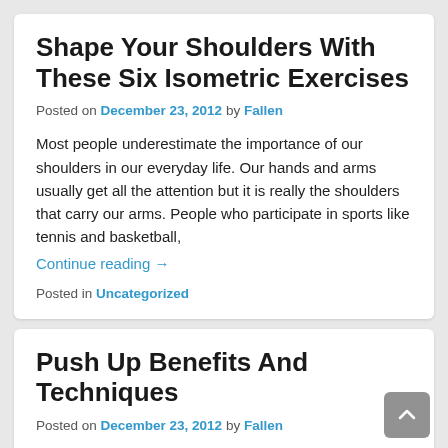Shape Your Shoulders With These Six Isometric Exercises
Posted on December 23, 2012 by Fallen
Most people underestimate the importance of our shoulders in our everyday life. Our hands and arms usually get all the attention but it is really the shoulders that carry our arms. People who participate in sports like tennis and basketball,
Continue reading →
Posted in Uncategorized
Push Up Benefits And Techniques
Posted on December 23, 2012 by Fallen
The push-up is a great exercise to build numerous muscles in your upper body like your chest, arms, shoulders and back. It